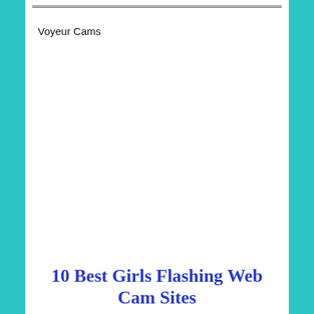Voyeur Cams
10 Best Girls Flashing Web Cam Sites